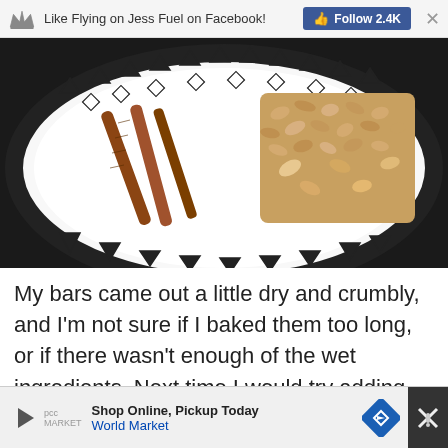Like Flying on Jess Fuel on Facebook! Follow 2.4K
[Figure (photo): A decorative black and white patterned plate with cinnamon sticks and an oat/granola bar on top, photographed from above against a dark background.]
My bars came out a little dry and crumbly, and I'm not sure if I baked them too long, or if there wasn't enough of the wet ingredients. Next time I would try adding extra honey and peanut butter, or cut the flour down a little. Nevertheless, the flavor was awesome. The cinnamon went great with the nuts and oats,
Shop Online, Pickup Today World Market